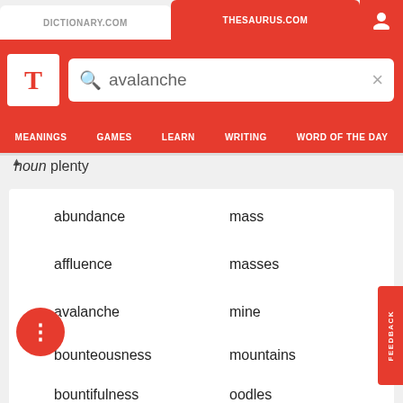DICTIONARY.COM | THESAURUS.COM
[Figure (screenshot): Thesaurus.com website header with logo, search bar containing 'avalanche', and navigation tabs: MEANINGS, GAMES, LEARN, WRITING, WORD OF THE DAY]
noun plenty
abundance
mass
affluence
masses
avalanche
mine
bounteousness
mountains
bountifulness
oodles
apacity
opulence
copiousness
peck